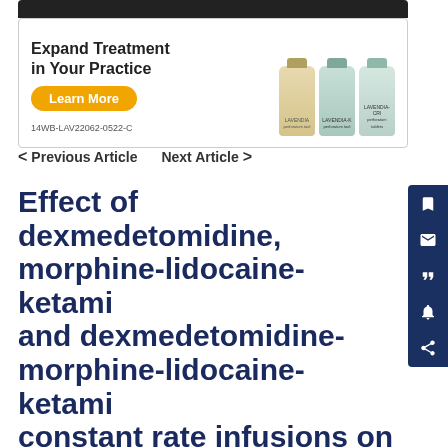[Figure (advertisement): Pharmaceutical advertisement for Lavendia products with 'Expand Treatment in Your Practice' headline, 'Learn More' button, three medication bottles, and code 14WB-LAV22062-0522-C]
< Previous Article    Next Article >
Effect of dexmedetomidine, morphine-lidocaine-ketamine and dexmedetomidine-morphine-lidocaine-ketamine constant rate infusions on the minimum alveolar concentration of isoflurane and bispectral index in dogs